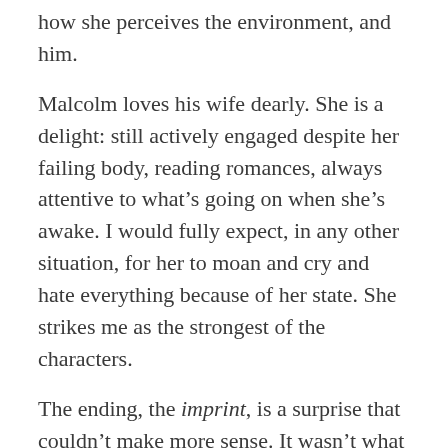how she perceives the environment, and him.
Malcolm loves his wife dearly. She is a delight: still actively engaged despite her failing body, reading romances, always attentive to what’s going on when she’s awake. I would fully expect, in any other situation, for her to moan and cry and hate everything because of her state. She strikes me as the strongest of the characters.
The ending, the imprint, is a surprise that couldn’t make more sense. It wasn’t what I’d hoped for, but I won’t give it away. It evoked some strong feels for Malcolm. Anyone that’s had a spouse with a mysterious illness can probably relate. Their bond is obvious, his dedication to her unmovable. I have missed reading about characters with morals, respect, and true love. ...And a future hanging